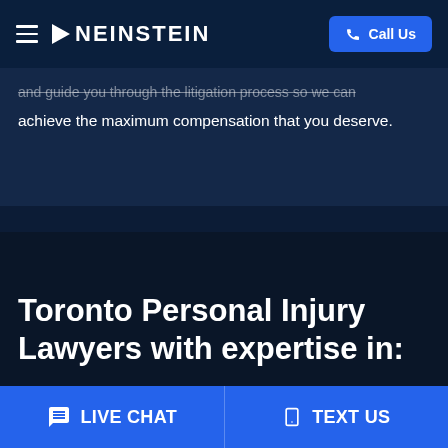NEINSTEIN | Call Us
and guide you through the litigation process so we can achieve the maximum compensation that you deserve.
Toronto Personal Injury Lawyers with expertise in:
LIVE CHAT
TEXT US